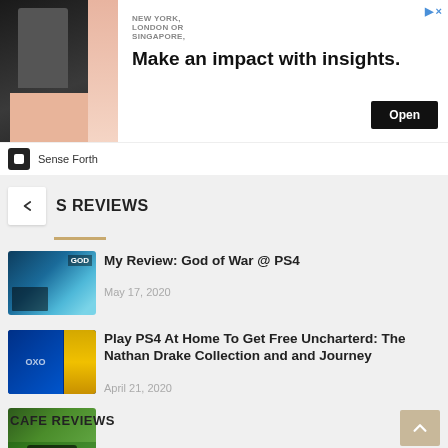[Figure (screenshot): Advertisement banner: Image of businessman with text 'NEW YORK, LONDON OR SINGAPORE.' and headline 'Make an impact with insights.' with Open button. Sense Forth brand logo below.]
S REVIEWS
[Figure (photo): God of War PS4 game thumbnail showing boat scene]
My Review: God of War @ PS4
May 17, 2020
[Figure (photo): PS4 Play At Home promotion thumbnail showing PlayStation logo and Uncharted]
Play PS4 At Home To Get Free Uncharterd: The Nathan Drake Collection and and Journey
April 21, 2020
[Figure (photo): Android gaming photo showing hands holding smartphone]
3 Best Android Games 2020 During Movement Control Order (MOC) Malaysia
March 30, 2020
CAFE REVIEWS
[Figure (photo): Cafe review thumbnail, partially visible at bottom]